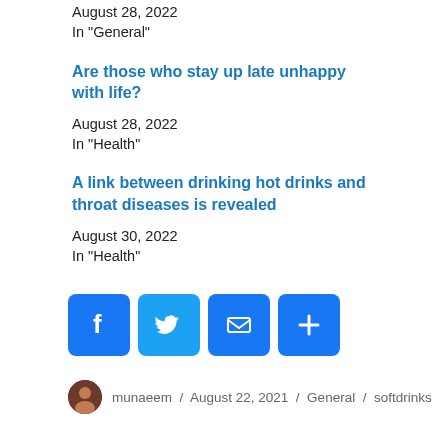August 28, 2022
In "General"
Are those who stay up late unhappy with life?
August 28, 2022
In "Health"
A link between drinking hot drinks and throat diseases is revealed
August 30, 2022
In "Health"
[Figure (infographic): Social share buttons: Facebook (blue f), Twitter (blue bird), Mail (blue envelope), Plus/More (blue plus sign)]
munaeem / August 22, 2021 / General / softdrinks